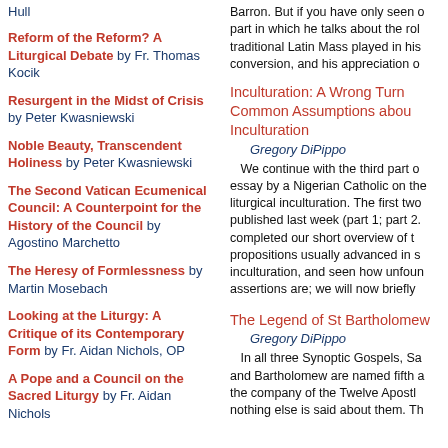Hull
Reform of the Reform? A Liturgical Debate by Fr. Thomas Kocik
Resurgent in the Midst of Crisis by Peter Kwasniewski
Noble Beauty, Transcendent Holiness by Peter Kwasniewski
The Second Vatican Ecumenical Council: A Counterpoint for the History of the Council by Agostino Marchetto
The Heresy of Formlessness by Martin Mosebach
Looking at the Liturgy: A Critique of its Contemporary Form by Fr. Aidan Nichols, OP
A Pope and a Council on the Sacred Liturgy by Fr. Aidan Nichols
Barron. But if you have only seen o part in which he talks about the rol traditional Latin Mass played in his conversion, and his appreciation o
Inculturation: A Wrong Turn Common Assumptions about Inculturation
Gregory DiPippo
We continue with the third part of essay by a Nigerian Catholic on the liturgical inculturation. The first two published last week (part 1; part 2. completed our short overview of t propositions usually advanced in s inculturation, and seen how unfoun assertions are; we will now briefly
The Legend of St Bartholomew
Gregory DiPippo
In all three Synoptic Gospels, Sa and Bartholomew are named fifth a the company of the Twelve Apostl nothing else is said about them. Th